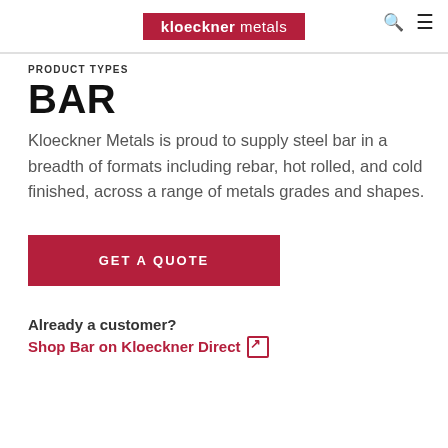kloeckner metals
PRODUCT TYPES
BAR
Kloeckner Metals is proud to supply steel bar in a breadth of formats including rebar, hot rolled, and cold finished, across a range of metals grades and shapes.
GET A QUOTE
Already a customer?
Shop Bar on Kloeckner Direct